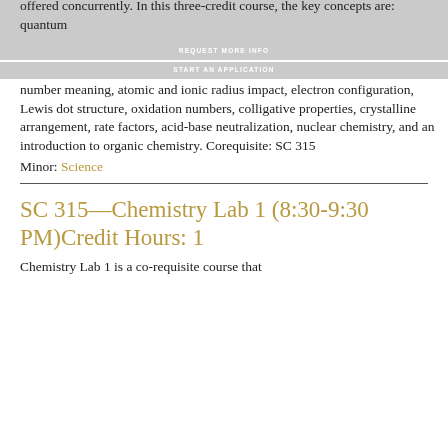eleven-course science concentration. There is also a lab course (SC 316) offered concurrently. In this three-credit course, the key concepts are: quantum
number meaning, atomic and ionic radius impact, electron configuration, Lewis dot structure, oxidation numbers, colligative properties, crystalline arrangement, rate factors, acid-base neutralization, nuclear chemistry, and an introduction to organic chemistry. Corequisite: SC 315
Minor: Science
SC 315—Chemistry Lab 1 (8:30-9:30 PM)Credit Hours: 1
Chemistry Lab 1 is a co-requisite course that